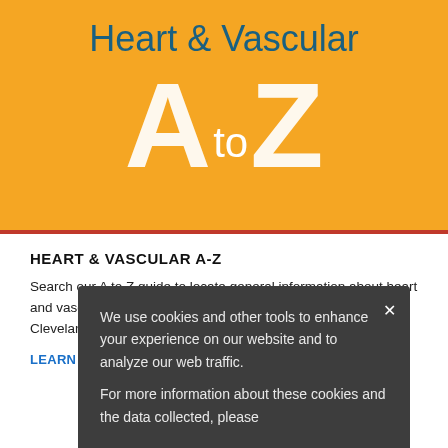[Figure (illustration): Orange banner with 'Heart & Vascular' in teal text and large white 'A to Z' letters on orange background]
HEART & VASCULAR A-Z
Search our A to Z guide to locate general information about heart and vascular diseases, conditions, treatments, and care at Cleveland Clinic Children's Hospital.
LEARN MORE >
We use cookies and other tools to enhance your experience on our website and to analyze our web traffic. For more information about these cookies and the data collected, please refer to our Privacy Policy.